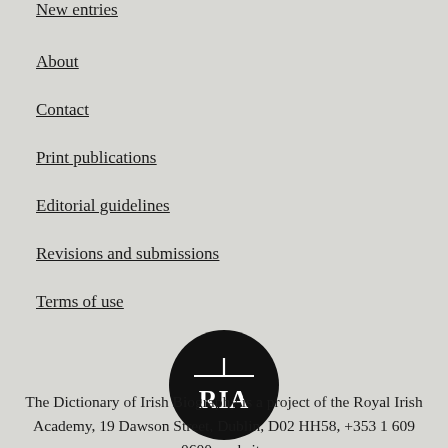New entries
About
Contact
Print publications
Editorial guidelines
Revisions and submissions
Terms of use
[Figure (logo): RIA (Royal Irish Academy) circular logo — black circle with white cross bar above and stylized RIA lettering below]
The Dictionary of Irish Biography is a project of the Royal Irish Academy, 19 Dawson Street, Dublin, D02 HH58, +353 1 609 0600, website